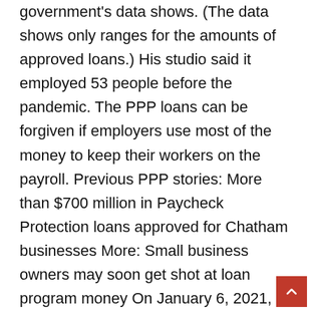government's data shows. (The data shows only ranges for the amounts of approved loans.) His studio said it employed 53 people before the pandemic. The PPP loans can be forgiven if employers use most of the money to keep their workers on the payroll. Previous PPP stories: More than $700 million in Paycheck Protection loans approved for Chatham businesses More: Small business owners may soon get shot at loan program money On January 6, 2021, the Small Business Administration (the “SBA”) and the Department of Treasury released an Interim Final Rule called “Business Loan Program Temporary Changes; Paycheck Protection Program as Amended by Economic Aid Act” (sometimes referred to as the “Consolidated First Draw PPP IFR” or the “IFR”). That rule restates existing regulatory provisions into a single regulation on borrower eligibility, lender eligibility, and loan application or origination requirement issues for new First Draw PPP Loans, as well general rules relating to First Draw PPP Loan increases and